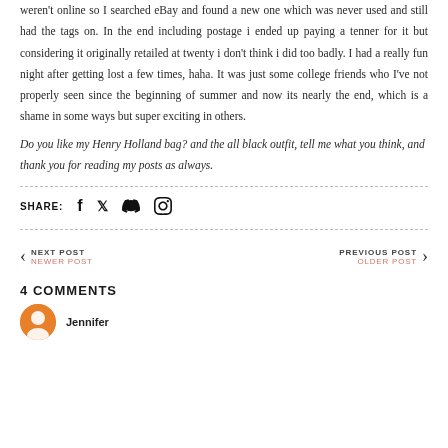weren't online so I searched eBay and found a new one which was never used and still had the tags on. In the end including postage i ended up paying a tenner for it but considering it originally retailed at twenty i don't think i did too badly. I had a really fun night after getting lost a few times, haha. It was just some college friends who I've not properly seen since the beginning of summer and now its nearly the end, which is a shame in some ways but super exciting in others.
Do you like my Henry Holland bag? and the all black outfit, tell me what you think, and thank you for reading my posts as always.
SHARE: [social icons: Facebook, Twitter, Tumblr, Pinterest]
NEXT POST NEWER POST
PREVIOUS POST OLDER POST
4 COMMENTS
Jennifer